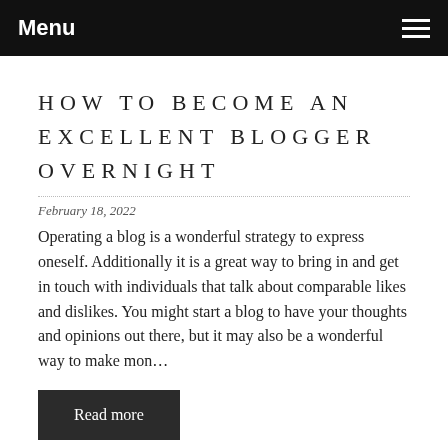Menu
HOW TO BECOME AN EXCELLENT BLOGGER OVERNIGHT
February 18, 2022
Operating a blog is a wonderful strategy to express oneself. Additionally it is a great way to bring in and get in touch with individuals that talk about comparable likes and dislikes. You might start a blog to have your thoughts and opinions out there, but it may also be a wonderful way to make mon…
Read more
0 comments   Posted in General   Tags blog